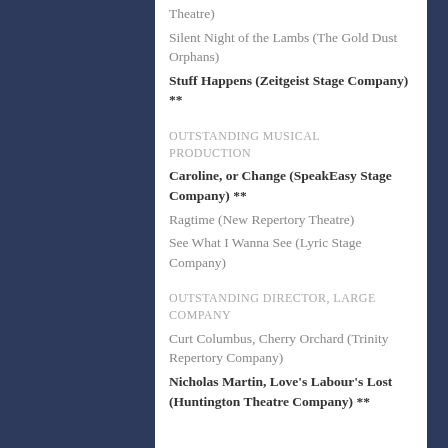Theatre)
Silent Night of the Lambs (The Gold Dust Orphans)
Stuff Happens (Zeitgeist Stage Company) **
OUTSTANDING MUSICAL PRODUCTION
Caroline, or Change (SpeakEasy Stage Company) **
Ragtime (New Repertory Theatre)
See What I Wanna See (Lyric Stage Company)
OUTSTANDING DIRECTOR, LARGE COMPANY
Curt Columbus, Cherry Orchard (Trinity Repertory Company)
Nicholas Martin, Love's Labour's Lost (Huntington Theatre Company) **